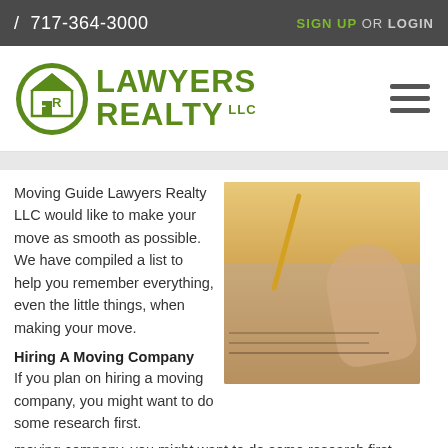/ 717-364-3000  SIGN UP OR LOGIN
[Figure (logo): Lawyers Realty LLC logo with circular emblem and green text]
Moving Guide Lawyers Realty LLC would like to make your move as smooth as possible. We have compiled a list to help you remember everything, even the little things, when making your move.
[Figure (photo): Close-up photo of a hand holding a pencil over a document with glasses nearby]
Hiring A Moving Company
If you plan on hiring a moving company, you might want to do some research first. Please review the sites below for more great information